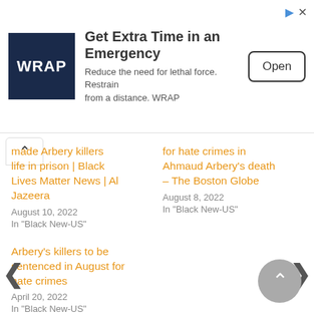[Figure (other): WRAP advertisement banner with logo, headline 'Get Extra Time in an Emergency', subtext 'Reduce the need for lethal force. Restrain from a distance. WRAP', and an Open button]
made Arbery killers life in prison | Black Lives Matter News | Al Jazeera
August 10, 2022
In "Black New-US"
for hate crimes in Ahmaud Arbery's death – The Boston Globe
August 8, 2022
In "Black New-US"
Arbery's killers to be sentenced in August for hate crimes
April 20, 2022
In "Black New-US"